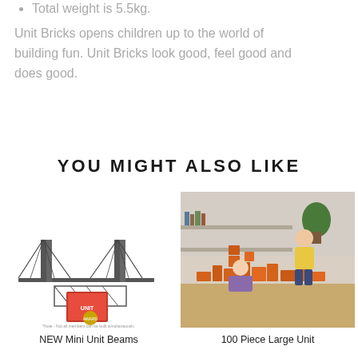Total weight is 5.5kg.
Unit Bricks opens children up to the world of building fun. Unit Bricks look good, feel good and does good.
YOU MIGHT ALSO LIKE
[Figure (photo): Photo of NEW Mini Unit Beams toy set showing bridge models and packaging]
NEW Mini Unit Beams
[Figure (photo): Photo of children playing with 100 Piece Large Unit wooden blocks]
100 Piece Large Unit